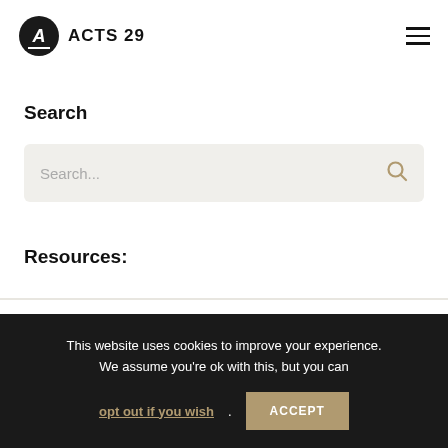ACTS 29
Search
[Figure (screenshot): Search input box with placeholder text 'Search...' and a search icon on the right, on a light beige background]
Resources:
This website uses cookies to improve your experience. We assume you're ok with this, but you can opt out if you wish. ACCEPT